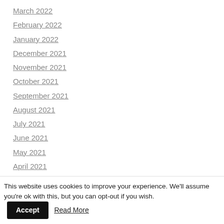March 2022
February 2022
January 2022
December 2021
November 2021
October 2021
September 2021
August 2021
July 2021
June 2021
May 2021
April 2021
March 2021
February 2021
January 2021
December 2020
This website uses cookies to improve your experience. We'll assume you're ok with this, but you can opt-out if you wish. Accept Read More